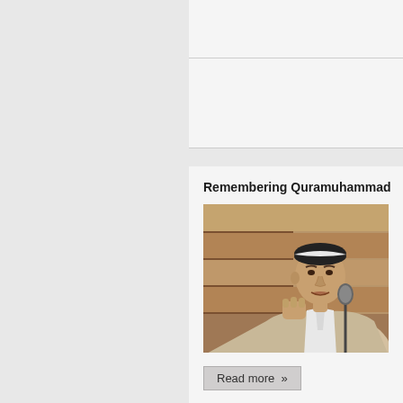Remembering Quramuhammad
[Figure (photo): A man wearing a black and white traditional cap and a beige suit jacket, speaking at a microphone with a raised fist gesture. Wooden paneling or shelving visible in the background.]
Read more »